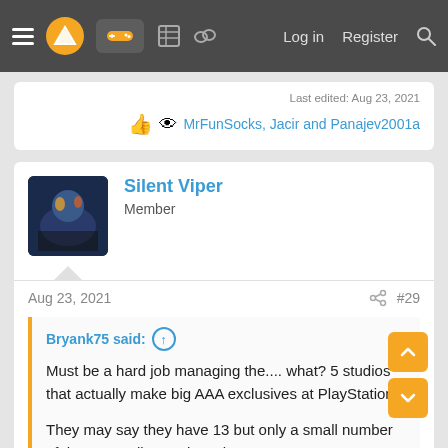Navigation bar with hamburger menu, logo, controller icon, forum icons, Log in, Register, Search
Last edited: Aug 23, 2021
👍 👁 MrFunSocks, Jacir and Panajev2001a
Silent Viper
Member
Aug 23, 2021  #29
Bryank75 said: ↑

Must be a hard job managing the.... what? 5 studios that actually make big AAA exclusives at PlayStation.

They may say they have 13 but only a small number of them actually consistently put out great AAA games.

Insomniac are a powerhouse and seem to do the work of 2 or 3 studios and that acquisition... Click to expand...